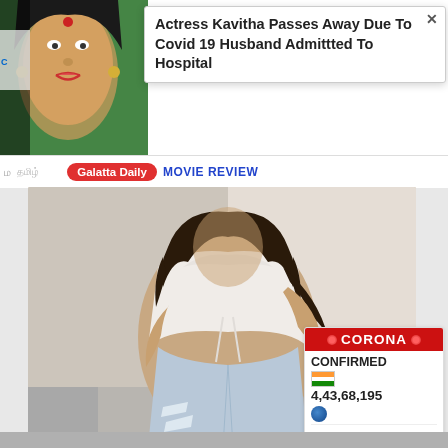[Figure (screenshot): Screenshot of a webpage showing a popup notification about actress Kavitha passing away due to Covid-19, with her thumbnail photo, a navigation bar with Galatta Daily and Movie Review links, and a main photo of a woman in white top and jeans, plus a Corona confirmed cases widget showing 4,43,68,195 for India]
Actress Kavitha Passes Away Due To Covid 19 Husband Admittted To Hospital
Galatta Daily   Movie Review
CORONA
CONFIRMED
4,43,68,195